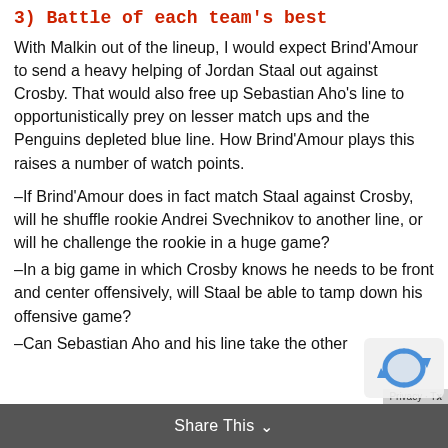3) Battle of each team's best
With Malkin out of the lineup, I would expect Brind'Amour to send a heavy helping of Jordan Staal out against Crosby. That would also free up Sebastian Aho's line to opportunistically prey on lesser match ups and the Penguins depleted blue line. How Brind'Amour plays this raises a number of watch points.
–If Brind'Amour does in fact match Staal against Crosby, will he shuffle rookie Andrei Svechnikov to another line, or will he challenge the rookie in a huge game?
–In a big game in which Crosby knows he needs to be front and center offensively, will Staal be able to tamp down his offensive game?
–Can Sebastian Aho and his line take the other
Share This